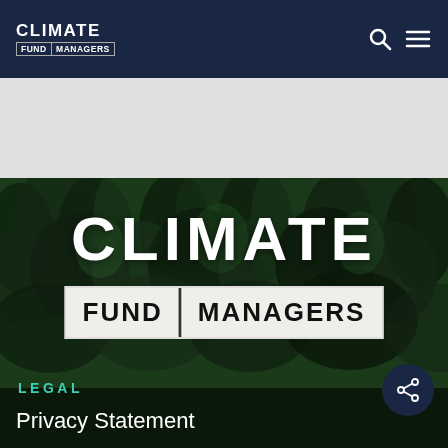CLIMATE FUND MANAGERS
[Figure (photo): Aerial view of a dense tropical rainforest canopy, dark green trees, used as hero background image for Climate Fund Managers website]
CLIMATE FUND MANAGERS
LEGAL
Privacy Statement